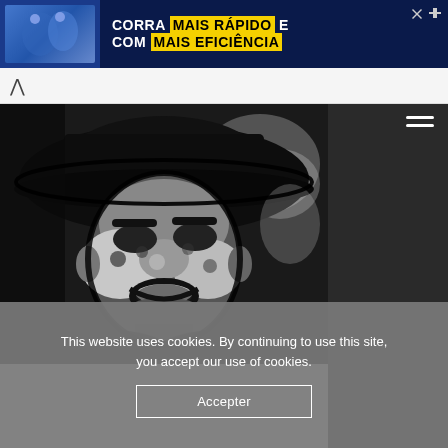[Figure (other): Advertisement banner with dark navy background showing text 'CORRA MAIS RÁPIDO E COM MAIS EFICIÊNCIA' with yellow highlights, and sports figures on the left. Has a close/skip button in top right.]
[Figure (photo): High-contrast black and white processed photo of a person wearing a wide-brimmed hat, looking upward and smiling. The image has a posterized/comic-book style effect with strong dark outlines.]
This website uses cookies. By continuing to use this site, you accept our use of cookies.
Accepter